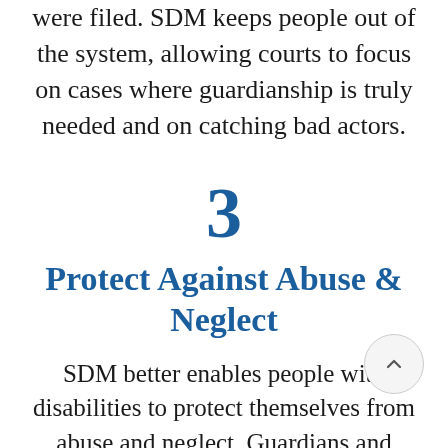were filed. SDM keeps people out of the system, allowing courts to focus on cases where guardianship is truly needed and on catching bad actors.
3
Protect Against Abuse & Neglect
SDM better enables people with disabilities to protect themselves from abuse and neglect. Guardians and guardian advocates have control over the person in their